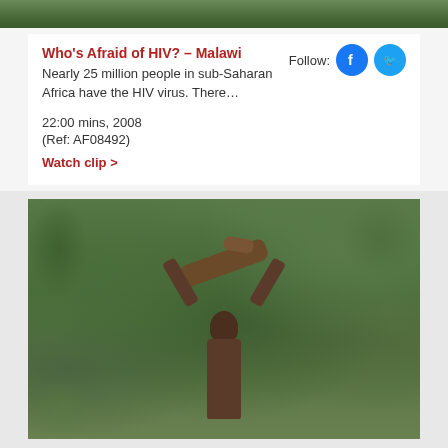[Figure (photo): Partial view of a person or scene, cropped at the top of the page]
Who's Afraid of HIV? – Malawi
Nearly 25 million people in sub-Saharan Africa have the HIV virus. There…
22:00 mins, 2008
(Ref: AF08492)
Watch clip >
[Figure (photo): A child carrying a heavy load (branch/log) on their head outdoors, with green vegetation in the background]